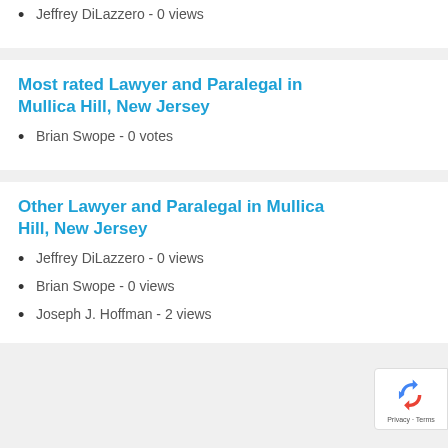Jeffrey DiLazzero - 0 views
Most rated Lawyer and Paralegal in Mullica Hill, New Jersey
Brian Swope - 0 votes
Other Lawyer and Paralegal in Mullica Hill, New Jersey
Jeffrey DiLazzero - 0 views
Brian Swope - 0 views
Joseph J. Hoffman - 2 views